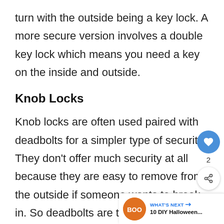turn with the outside being a key lock. A more secure version involves a double key lock which means you need a key on the inside and outside.
Knob Locks
Knob locks are often used paired with deadbolts for a simpler type of security. They don't offer much security at all because they are easy to remove from the outside if someone wants to break in. So deadbolts are the security part of t…